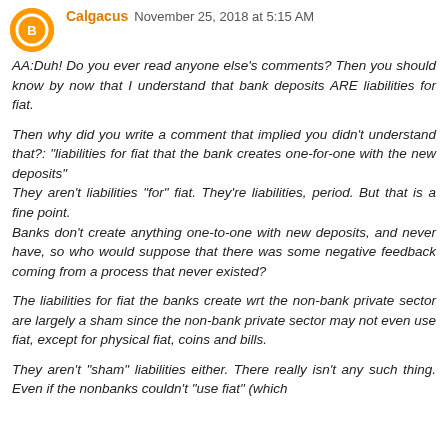Calgacus November 25, 2018 at 5:15 AM
AA:Duh! Do you ever read anyone else's comments? Then you should know by now that I understand that bank deposits ARE liabilities for fiat.
Then why did you write a comment that implied you didn't understand that?: "liabilities for fiat that the bank creates one-for-one with the new deposits"
They aren't liabilities "for" fiat. They're liabilities, period. But that is a fine point.
Banks don't create anything one-to-one with new deposits, and never have, so who would suppose that there was some negative feedback coming from a process that never existed?
The liabilities for fiat the banks create wrt the non-bank private sector are largely a sham since the non-bank private sector may not even use fiat, except for physical fiat, coins and bills.
They aren't "sham" liabilities either. There really isn't any such thing. Even if the nonbanks couldn't "use fiat" (which